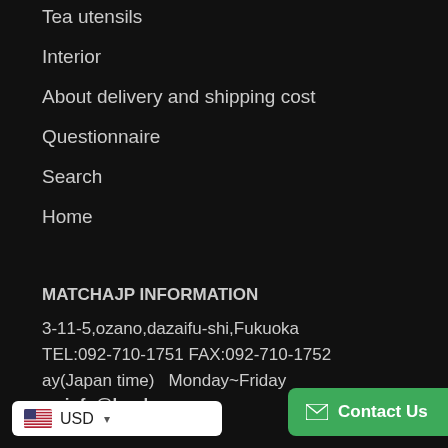Tea utensils
Interior
About delivery and shipping cost
Questionnaire
Search
Home
MATCHAJP INFORMATION
3-11-5,ozano,dazaifu-shi,Fukuoka
TEL:092-710-1751  FAX:092-710-1752
ay(Japan time)   Monday~Friday
s : info@houkouen.ne